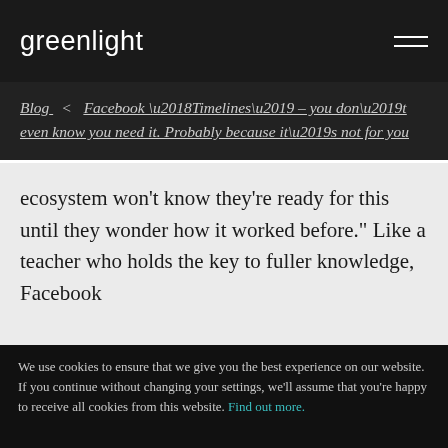greenlight
Blog  <  Facebook ‘Timelines’ – you don’t even know you need it. Probably because it’s not for you
ecosystem won't know they're ready for this until they wonder how it worked before." Like a teacher who holds the key to fuller knowledge, Facebook
We use cookies to ensure that we give you the best experience on our website. If you continue without changing your settings, we'll assume that you're happy to receive all cookies from this website. Find out more.